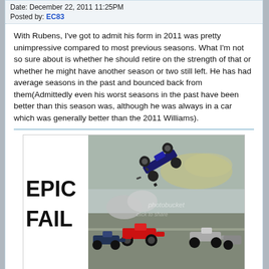Date: December 22, 2011 11:25PM
Posted by: EC83
With Rubens, I've got to admit his form in 2011 was pretty unimpressive compared to most previous seasons. What I'm not so sure about is whether he should retire on the strength of that or whether he might have another season or two still left. He has had average seasons in the past and bounced back from them(Admittedly even his worst seasons in the past have been better than this season was, although he was always in a car which was generally better than the 2011 Williams).
[Figure (photo): Composite image with 'EPIC FAIL' text overlay on left side (white background, bold black text) and a Formula 1 racing crash photo on the right showing multiple F1 cars with one airborne/flipping during a race start, with debris and smoke, Photobucket watermark visible.]
Reply   Quote